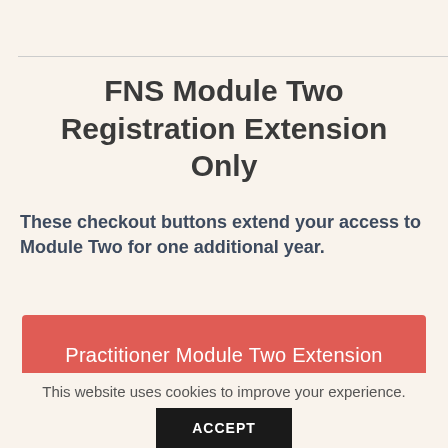FNS Module Two Registration Extension Only
These checkout buttons extend your access to Module Two for one additional year.
Practitioner Module Two Extension
This website uses cookies to improve your experience.
ACCEPT